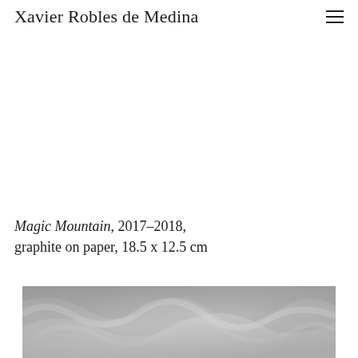Xavier Robles de Medina
Magic Mountain, 2017–2018, graphite on paper, 18.5 x 12.5 cm
[Figure (photo): Partial view of a black and white graphite drawing showing flowing, swirling abstract forms resembling fabric or smoke, cropped at the bottom of the page.]